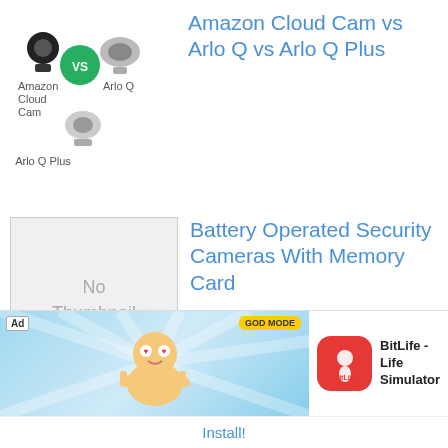[Figure (screenshot): Amazon Cloud Cam vs Arlo Q vs Arlo Q Plus comparison thumbnail with camera images]
Amazon Cloud Cam vs Arlo Q vs Arlo Q Plus
[Figure (photo): No Thumbnail placeholder image]
Battery Operated Security Cameras With Memory Card
[Figure (photo): Calendar and pen image for security camera footage article]
How Long Does The Average Security Camera Store Footage?
[Figure (photo): Zmodo Greet Video thumbnail (partially visible)]
Zmodo Greet Video
[Figure (screenshot): Ad banner: BitLife - Life Simulator app advertisement with Install button]